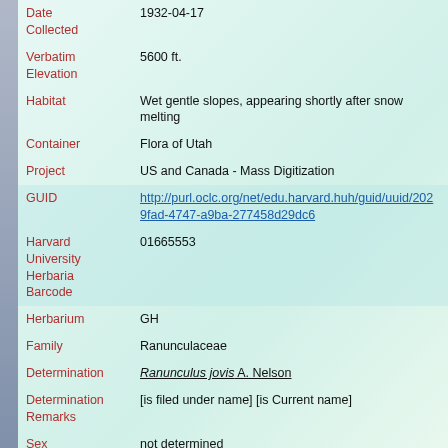| Field | Value |
| --- | --- |
| Date Collected | 1932-04-17 |
| Verbatim Elevation | 5600 ft. |
| Habitat | Wet gentle slopes, appearing shortly after snow melting |
| Container | Flora of Utah |
| Project | US and Canada - Mass Digitization |
| GUID | http://purl.oclc.org/net/edu.harvard.huh/guid/uuid/202...9fad-4747-a9ba-277458d29dc6 |
| Harvard University Herbaria Barcode | 01665553 |
| Herbarium | GH |
| Family | Ranunculaceae |
| Determination | Ranunculus jovis A. Nelson |
| Determination Remarks | [is filed under name] [is Current name] |
| Sex | not determined |
| Phenology | NotDetermined |
| Preparation Type | Sheet |
| Preparation | Pressed |